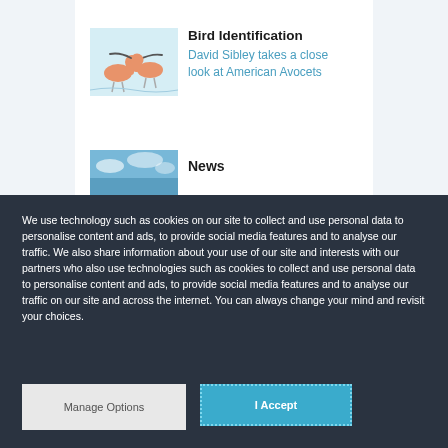[Figure (illustration): Two American Avocet birds facing each other with long curved bills touching, on a light blue background]
Bird Identification
David Sibley takes a close look at American Avocets
[Figure (photo): Partial view of a nature/sky photo (News section image, partially visible)]
News
We use technology such as cookies on our site to collect and use personal data to personalise content and ads, to provide social media features and to analyse our traffic. We also share information about your use of our site and interests with our partners who also use technologies such as cookies to collect and use personal data to personalise content and ads, to provide social media features and to analyse our traffic on our site and across the internet. You can always change your mind and revisit your choices.